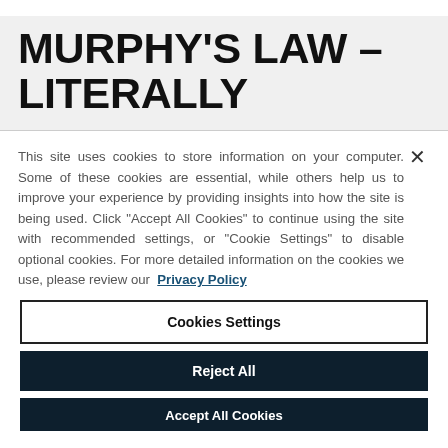MURPHY'S LAW – LITERALLY
This site uses cookies to store information on your computer. Some of these cookies are essential, while others help us to improve your experience by providing insights into how the site is being used. Click "Accept All Cookies" to continue using the site with recommended settings, or "Cookie Settings" to disable optional cookies. For more detailed information on the cookies we use, please review our Privacy Policy
Cookies Settings
Reject All
Accept All Cookies